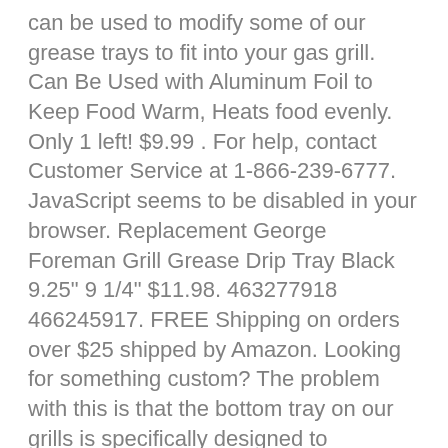can be used to modify some of our grease trays to fit into your gas grill. Can Be Used with Aluminum Foil to Keep Food Warm, Heats food evenly. Only 1 left! $9.99 . For help, contact Customer Service at 1-866-239-6777. JavaScript seems to be disabled in your browser. Replacement George Foreman Grill Grease Drip Tray Black 9.25" 9 1/4" $11.98. 463277918 466245917. FREE Shipping on orders over $25 shipped by Amazon. Looking for something custom? The problem with this is that the bottom tray on our grills is specifically designed to maximize the flow of grease to the catch pan. 4.8 out of 5 stars 185. Pre-Owned. Shop at your local store or online. Black Friday / Cyber Monday Sale Extended - Click Here for Deals! Top Rated Seller Top Rated Seller. GOODBYE FREE SHIPPING :( HELLO LOWER PRICES :) LEARN MORE. 463238218 463244819 463245917 463276517 463276617. In Stock. Universal 8"x4"